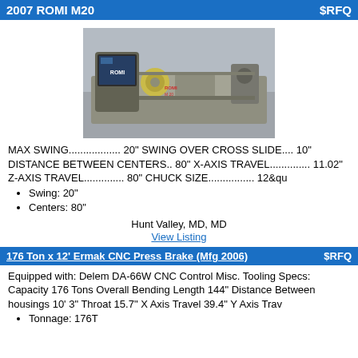2007 ROMI M20   $RFQ
[Figure (photo): Photo of a 2007 ROMI M20 CNC lathe machine in a workshop setting, showing the control panel on the left and tailstock on the right.]
MAX SWING................. 20" SWING OVER CROSS SLIDE.... 10" DISTANCE BETWEEN CENTERS.. 80" X-AXIS TRAVEL.............. 11.02" Z-AXIS TRAVEL.............. 80" CHUCK SIZE................ 12&qu
Swing: 20"
Centers: 80"
Hunt Valley, MD, MD
View Listing
176 Ton x 12' Ermak CNC Press Brake (Mfg 2006)   $RFQ
Equipped with: Delem DA-66W CNC Control Misc. Tooling Specs: Capacity 176 Tons Overall Bending Length 144" Distance Between housings 10' 3" Throat 15.7" X Axis Travel 39.4" Y Axis Trav
Tonnage: 176T